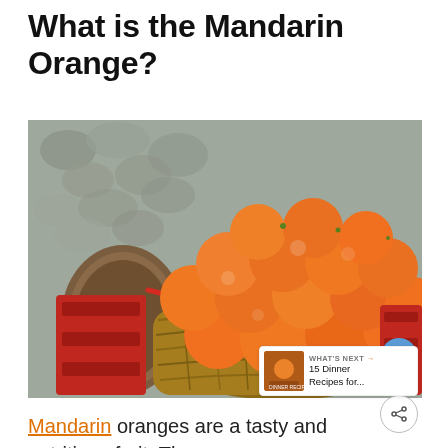What is the Mandarin Orange?
[Figure (photo): A wicker basket overflowing with bright orange mandarin oranges, placed inside a red crate, set against a cobblestone background.]
Mandarin oranges are a tasty and nutritious fruit. They are...